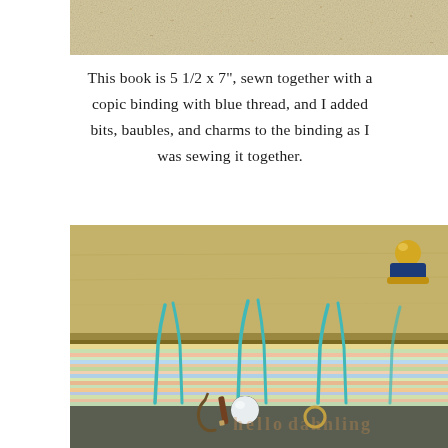[Figure (photo): Close-up of a sandy or textured surface, cropped at top of page]
This book is 5 1/2 x 7", sewn together with a copic binding with blue thread, and I added bits, baubles, and charms to the binding as I was sewing it together.
[Figure (photo): Close-up photo of a handmade book binding showing teal thread sewn through stacked colorful pages with decorative charms (pearl bead, hook, pen), resting on a wooden surface with a blue and gold knob/button visible in upper right. A faint watermark text is visible on the image.]